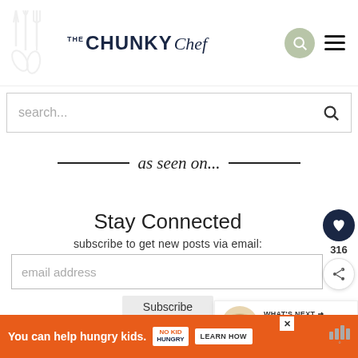THE CHUNKY Chef
search...
as seen on...
Stay Connected
subscribe to get new posts via email:
email address
Subscribe
316
WHAT'S NEXT → Sweet Cream Cheese Dip
You can help hungry kids. NO KID HUNGRY LEARN HOW